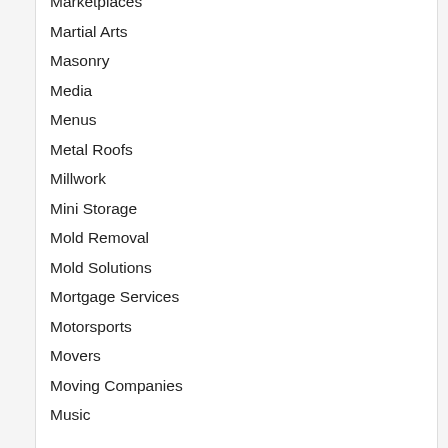Marketplaces
Martial Arts
Masonry
Media
Menus
Metal Roofs
Millwork
Mini Storage
Mold Removal
Mold Solutions
Mortgage Services
Motorsports
Movers
Moving Companies
Music